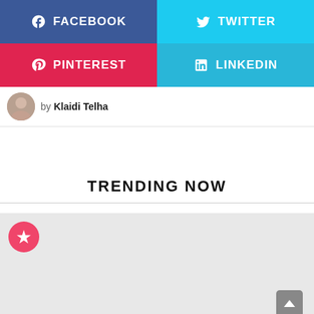[Figure (other): Social share buttons grid: Facebook (blue), Twitter (cyan), Pinterest (red), LinkedIn (cyan)]
by Klaidi Telha
TRENDING NOW
[Figure (other): Trending now card placeholder with pink star badge icon]